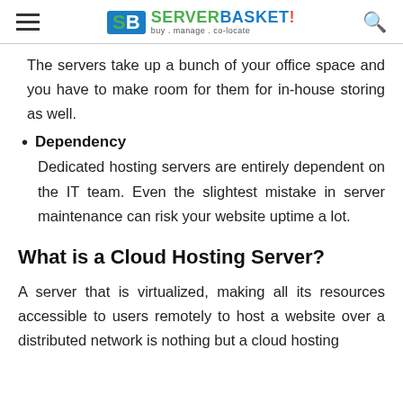ServerBasket — buy . manage . co-locate
The servers take up a bunch of your office space and you have to make room for them for in-house storing as well.
Dependency
Dedicated hosting servers are entirely dependent on the IT team. Even the slightest mistake in server maintenance can risk your website uptime a lot.
What is a Cloud Hosting Server?
A server that is virtualized, making all its resources accessible to users remotely to host a website over a distributed network is nothing but a cloud hosting